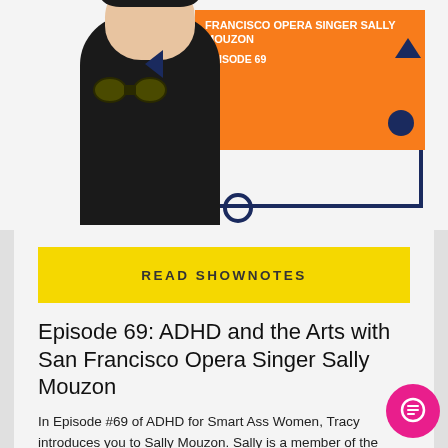[Figure (photo): Podcast episode banner showing a woman in a black dress holding binoculars, with an orange box containing text 'Francisco Opera Singer Sally Mouzon EPISODE 69', a dark navy outlined rectangle, decorative triangles and dots.]
READ SHOWNOTES
Episode 69: ADHD and the Arts with San Francisco Opera Singer Sally Mouzon
In Episode #69 of ADHD for Smart Ass Women, Tracy introduces you to Sally Mouzon. Sally is a member of the acclaimed San Francisco Opera Chorus. She has appeared in numerous roles with the company, including Second Priestess in Iphigénie en Tauride, Second